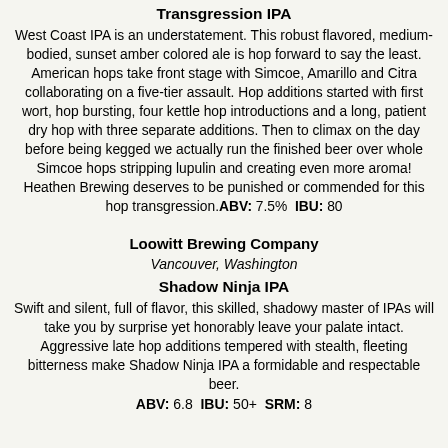Transgression IPA
West Coast IPA is an understatement. This robust flavored, medium-bodied, sunset amber colored ale is hop forward to say the least. American hops take front stage with Simcoe, Amarillo and Citra collaborating on a five-tier assault. Hop additions started with first wort, hop bursting, four kettle hop introductions and a long, patient dry hop with three separate additions. Then to climax on the day before being kegged we actually run the finished beer over whole Simcoe hops stripping lupulin and creating even more aroma! Heathen Brewing deserves to be punished or commended for this hop transgression. ABV: 7.5% IBU: 80
Loowitt Brewing Company
Vancouver, Washington
Shadow Ninja IPA
Swift and silent, full of flavor, this skilled, shadowy master of IPAs will take you by surprise yet honorably leave your palate intact. Aggressive late hop additions tempered with stealth, fleeting bitterness make Shadow Ninja IPA a formidable and respectable beer.
ABV: 6.8  IBU: 50+  SRM: 8